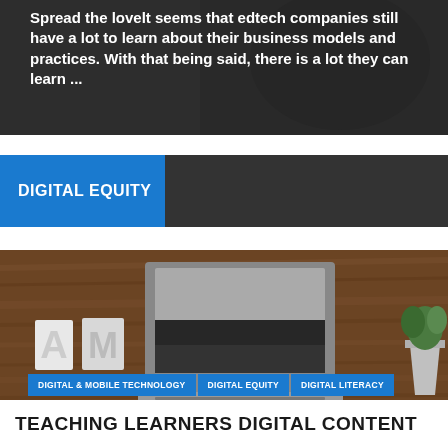[Figure (photo): Dark background image with white overlaid text about edtech companies and business models]
Spread the lovelt seems that edtech companies still have a lot to learn about their business models and practices. With that being said, there is a lot they can learn ...
DIGITAL EQUITY
[Figure (photo): Overhead photo of a laptop on a wooden desk with decorative 'AM' letters and a small potted plant. Tags: DIGITAL & MOBILE TECHNOLOGY, DIGITAL EQUITY, DIGITAL LITERACY. Title: TEACHING LEARNERS DIGITAL CONTENT]
DIGITAL & MOBILE TECHNOLOGY  DIGITAL EQUITY  DIGITAL LITERACY
TEACHING LEARNERS DIGITAL CONTENT